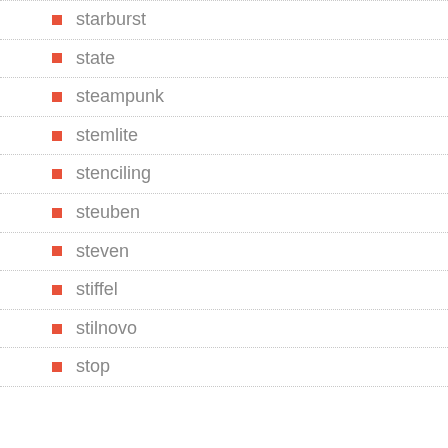starburst
state
steampunk
stemlite
stenciling
steuben
steven
stiffel
stilnovo
stop